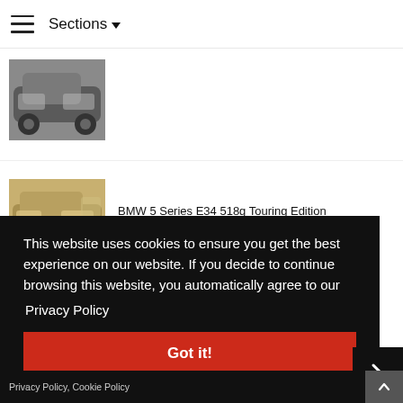Sections ▼
[Figure (photo): BMW 5 Series E34 silver/grey sedan, front three-quarter view]
[Figure (photo): BMW 5 Series E34 518g Touring Edition, gold/beige estate, front three-quarter view]
BMW 5 Series E34 518g Touring Edition (09/1995 – 09/1996)
This website uses cookies to ensure you get the best experience on our website. If you decide to continue browsing this website, you automatically agree to our
Privacy Policy
Got it!
Privacy Policy, Cookie Policy